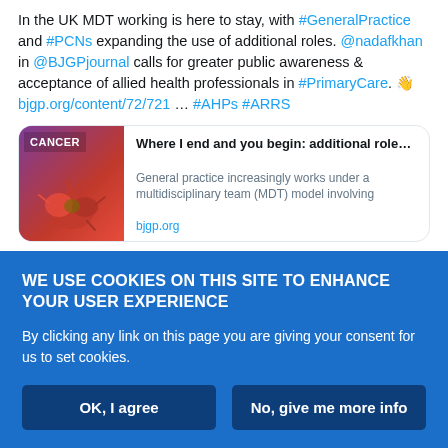In the UK MDT working is here to stay, with #GeneralPractice and #PCNs expanding the use of additional roles. @nadafkhan in @BJGPjournal calls for greater public awareness & acceptance of allied health professionals in #PrimaryCare. 👋 bjgp.org/content/72/721 … #AHPs #ARRS
[Figure (screenshot): Twitter card showing article preview: 'Where I end and you begin: additional role...' with BJGP cancer journal cover image and text 'General practice increasingly works under a multidisciplinary team (MDT) model involving', domain bjgp.org]
Aug 18, 2022
WE USE COOKIES ON THIS SITE TO ENHANCE YOUR USER EXPERIENCE
By clicking any link on this page you are giving your consent for us to set cookies.
OK, I agree
No, give me more info